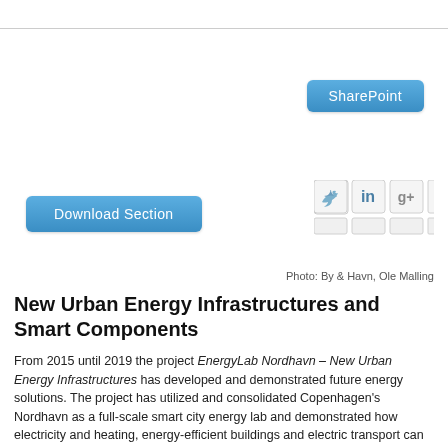[Figure (screenshot): Top navigation bar area with a horizontal rule divider]
[Figure (screenshot): Blue SharePoint button in the upper right]
[Figure (screenshot): Blue Download Section button on the left]
[Figure (screenshot): Social media sharing icons (Twitter, LinkedIn, Google+, Pinterest) partially cropped]
Photo: By & Havn, Ole Malling
New Urban Energy Infrastructures and Smart Components
From 2015 until 2019 the project EnergyLab Nordhavn – New Urban Energy Infrastructures has developed and demonstrated future energy solutions. The project has utilized and consolidated Copenhagen's Nordhavn as a full-scale smart city energy lab and demonstrated how electricity and heating, energy-efficient buildings and electric transport can be integrated into an intelligent, flexible and optimized energy system.